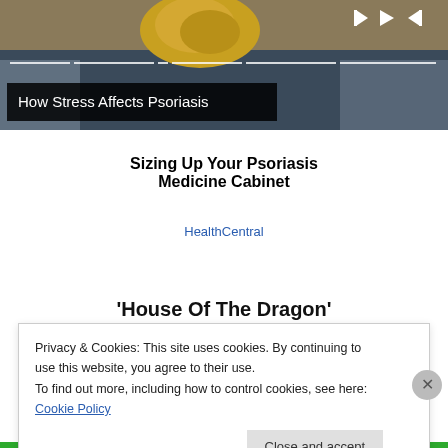[Figure (screenshot): Video player banner showing partial image of a person with yellow/golden objects, with playback controls (skip back, play, skip forward) and progress bar segments at top right. Video title overlay reads 'How Stress Affects Psoriasis'.]
How Stress Affects Psoriasis
Sizing Up Your Psoriasis Medicine Cabinet
HealthCentral
'House Of The Dragon'
Privacy & Cookies: This site uses cookies. By continuing to use this website, you agree to their use.
To find out more, including how to control cookies, see here: Cookie Policy
Close and accept